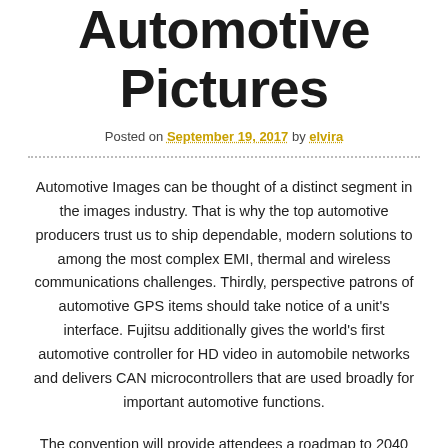Automotive Pictures
Posted on September 19, 2017 by elvira
Automotive Images can be thought of a distinct segment in the images industry. That is why the top automotive producers trust us to ship dependable, modern solutions to among the most complex EMI, thermal and wireless communications challenges. Thirdly, perspective patrons of automotive GPS items should take notice of a unit's interface. Fujitsu additionally gives the world's first automotive controller for HD video in automobile networks and delivers CAN microcontrollers that are used broadly for important automotive functions.
The convention will provide attendees a roadmap to 2040 and